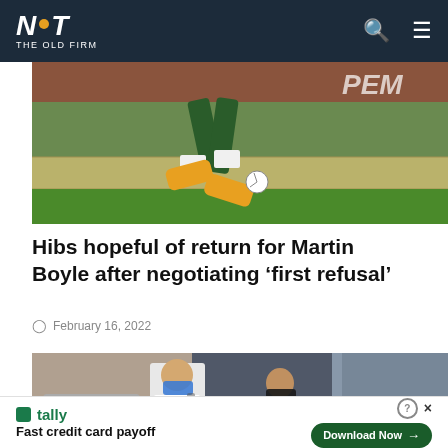NOT THE OLD FIRM
[Figure (photo): Soccer player's legs mid-action wearing green socks and orange/yellow boots, kicking a ball on a pitch, stadium advertising boards visible in background]
Hibs hopeful of return for Martin Boyle after negotiating ‘first refusal’
February 16, 2022
[Figure (photo): Two men wearing face masks outside Dundee Football Club, one in white shirt with backpack, another in dark clothing, near a bus or vehicle door, Morrisons sign visible in background]
Fast credit card payoff